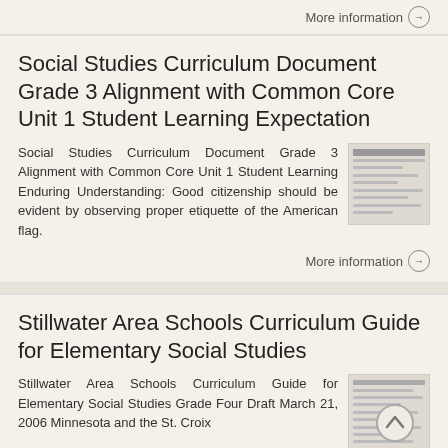More information →
Social Studies Curriculum Document Grade 3 Alignment with Common Core Unit 1 Student Learning Expectation
Social Studies Curriculum Document Grade 3 Alignment with Common Core Unit 1 Student Learning Enduring Understanding: Good citizenship should be evident by observing proper etiquette of the American flag.
More information →
Stillwater Area Schools Curriculum Guide for Elementary Social Studies
Stillwater Area Schools Curriculum Guide for Elementary Social Studies Grade Four Draft March 21, 2006 Minnesota and the St. Croix